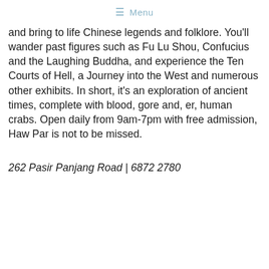≡ Menu
and bring to life Chinese legends and folklore. You'll wander past figures such as Fu Lu Shou, Confucius and the Laughing Buddha, and experience the Ten Courts of Hell, a Journey into the West and numerous other exhibits. In short, it's an exploration of ancient times, complete with blood, gore and, er, human crabs. Open daily from 9am-7pm with free admission, Haw Par is not to be missed.
262 Pasir Panjang Road | 6872 2780